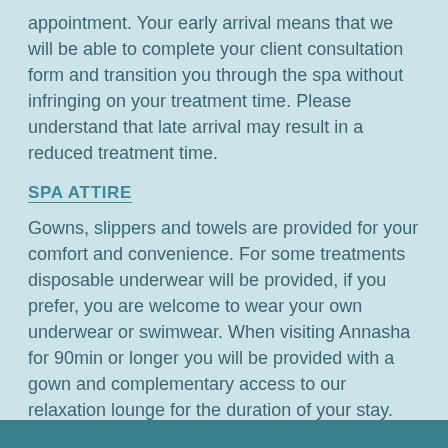appointment. Your early arrival means that we will be able to complete your client consultation form and transition you through the spa without infringing on your treatment time. Please understand that late arrival may result in a reduced treatment time.
SPA ATTIRE
Gowns, slippers and towels are provided for your comfort and convenience. For some treatments disposable underwear will be provided, if you prefer, you are welcome to wear your own underwear or swimwear. When visiting Annasha for 90min or longer you will be provided with a gown and complementary access to our relaxation lounge for the duration of your stay. For any treatments shorter than 90minutes, you may wish to upgrade to gown/lounge service, by asking upon booking.